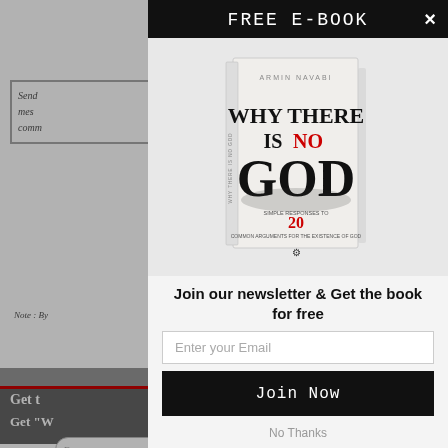Send
mes
comm
Note : By
FREE E-BOOK
[Figure (illustration): Book cover: 'Why There Is No God' by Armin Navabi. Simple Responses to 20 Common Arguments for the Existence of God. White cover with bold black GOD text and red NO text.]
Join our newsletter & Get the book for free
Enter your Email
Join Now
No Thanks